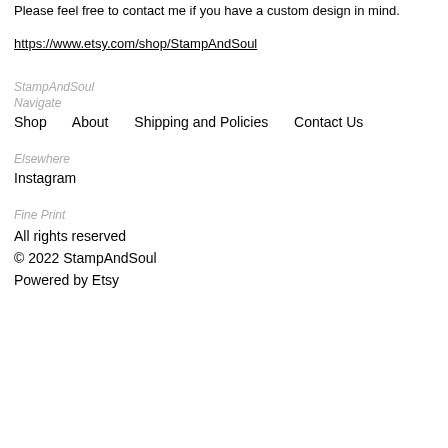Please feel free to contact me if you have a custom design in mind.
https://www.etsy.com/shop/StampAndSoul
StampAndSoul
Navigate
Shop
About
Shipping and Policies
Contact Us
Elsewhere
Instagram
Fine Print
All rights reserved
© 2022 StampAndSoul
Powered by Etsy